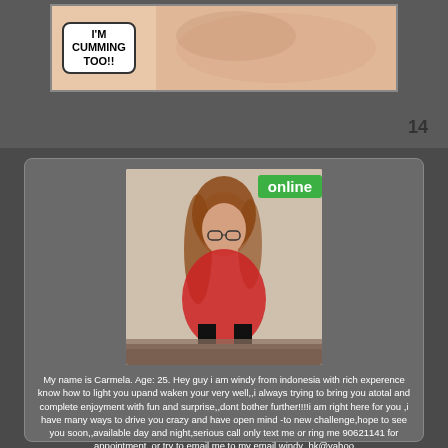[Figure (illustration): Comic strip panel showing a speech bubble with text 'I'M CUMMING TOO!!' against a flesh-toned background]
14
[Figure (photo): Woman in red lingerie posing on a bed, with an 'online' green badge overlay]
My name is Carmela. Age: 25. Hey guy i am windy from indonesia with rich experence know how to light you upand waken your very well,,i always trying to bring you atotal and complete enjoyment with fun and surprise,,dont bother further!!!!i am right here for you ,i have many ways to drive you crazy and have open mind -to new challenge,hope to see you soon,,available day and night,serious call only text me or ring me 90621141 for appointment,,or try to email me to my email windy_hk@yahoo
See phone number